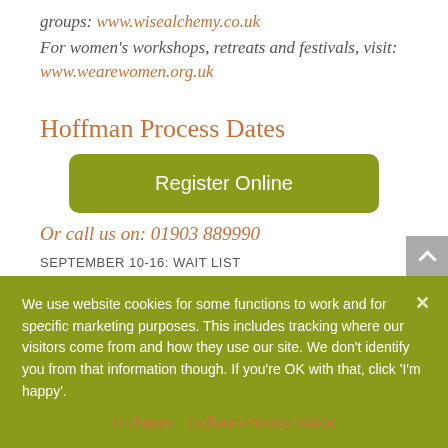groups: www.wisealchemy.co.uk
For women's workshops, retreats and festivals, visit:
www.wearewomen.org.uk
Hoffman Process Dates
Register Online
Or call us on: 01903 889990
SEPTEMBER 10-16: WAIT LIST
OCTOBER 2-28: AVAILABLE
NOVEMBER 6-11: AVAILABLE
NOVEMBER 19-25: AVAILABLE
We use website cookies for some functions to work and for specific marketing purposes. This includes tracking where our visitors come from and how they use our site. We don't identify you from that information though. If you're OK with that, click 'I'm happy'.
I'm happy   Hoffman Privacy Notice